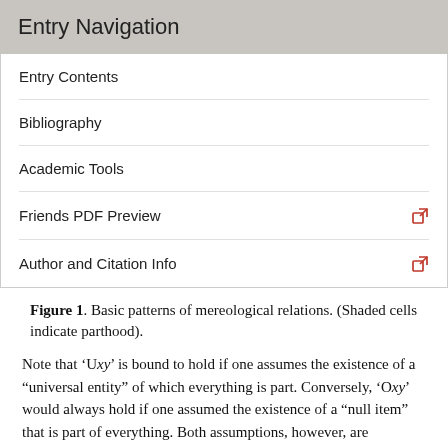Entry Navigation
Entry Contents
Bibliography
Academic Tools
Friends PDF Preview
Author and Citation Info
Figure 1. Basic patterns of mereological relations. (Shaded cells indicate parthood).
Note that ‘Uxy’ is bound to hold if one assumes the existence of a “universal entity” of which everything is part. Conversely, ‘Oxy’ would always hold if one assumed the existence of a “null item” that is part of everything. Both assumptions, however, are controversial and we shall come back to them below.
Note also that the definitions imply (by pure logic) that